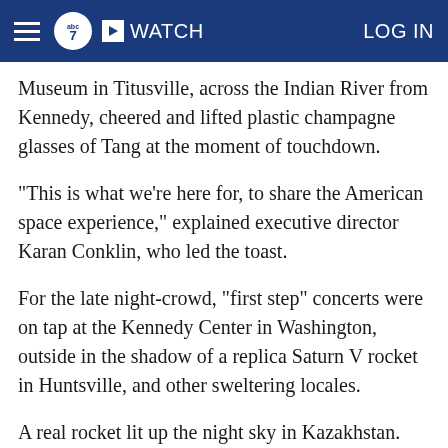abc7 WATCH LOG IN
Museum in Titusville, across the Indian River from Kennedy, cheered and lifted plastic champagne glasses of Tang at the moment of touchdown.
"This is what we're here for, to share the American space experience," explained executive director Karan Conklin, who led the toast.
For the late night-crowd, "first step" concerts were on tap at the Kennedy Center in Washington, outside in the shadow of a replica Saturn V rocket in Huntsville, and other sweltering locales.
A real rocket lit up the night sky in Kazakhstan.